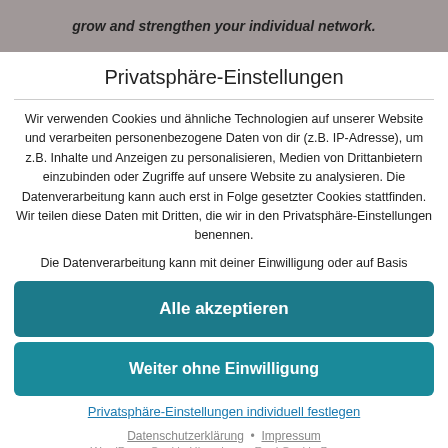grow and strengthen your individual network.
Privatsphäre-Einstellungen
Wir verwenden Cookies und ähnliche Technologien auf unserer Website und verarbeiten personenbezogene Daten von dir (z.B. IP-Adresse), um z.B. Inhalte und Anzeigen zu personalisieren, Medien von Drittanbietern einzubinden oder Zugriffe auf unsere Website zu analysieren. Die Datenverarbeitung kann auch erst in Folge gesetzter Cookies stattfinden. Wir teilen diese Daten mit Dritten, die wir in den Privatsphäre-Einstellungen benennen.
Die Datenverarbeitung kann mit deiner Einwilligung oder auf Basis
Alle akzeptieren
Weiter ohne Einwilligung
Privatsphäre-Einstellungen individuell festlegen
Datenschutzerklärung • Impressum
WordPress Cookie Hinweis von Real Cookie Banner